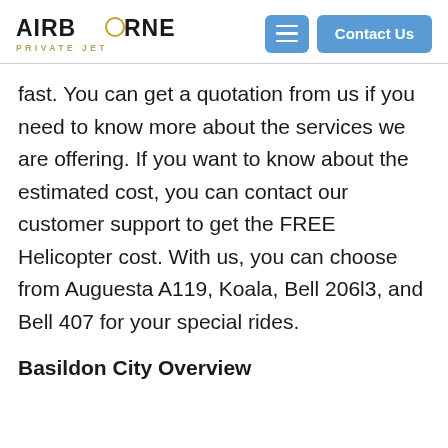AIRBORNE PRIVATE JET
fast. You can get a quotation from us if you need to know more about the services we are offering. If you want to know about the estimated cost, you can contact our customer support to get the FREE Helicopter cost. With us, you can choose from Auguesta A119, Koala, Bell 206l3, and Bell 407 for your special rides.
Basildon City Overview